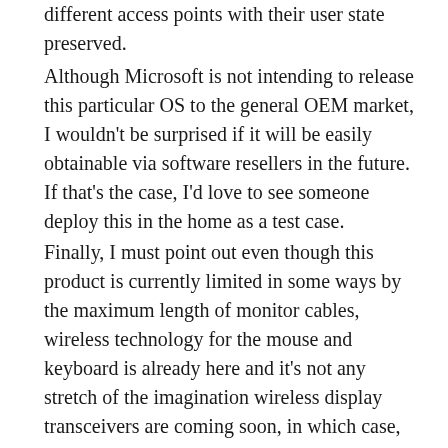different access points with their user state preserved.
Although Microsoft is not intending to release this particular OS to the general OEM market, I wouldn't be surprised if it will be easily obtainable via software resellers in the future. If that's the case, I'd love to see someone deploy this in the home as a test case.
Finally, I must point out even though this product is currently limited in some ways by the maximum length of monitor cables, wireless technology for the mouse and keyboard is already here and it's not any stretch of the imagination wireless display transceivers are coming soon, in which case, imagine just having to deploy a single Windows MultiPoint Server for an entire household.